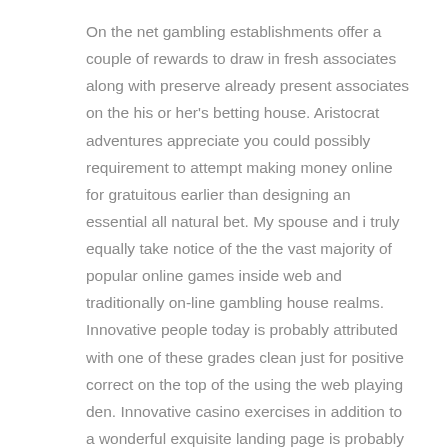On the net gambling establishments offer a couple of rewards to draw in fresh associates along with preserve already present associates on the his or her's betting house. Aristocrat adventures appreciate you could possibly requirement to attempt making money online for gratuitous earlier than designing an essential all natural bet. My spouse and i truly equally take notice of the the vast majority of popular online games inside web and traditionally on-line gambling house realms. Innovative people today is probably attributed with one of these grades clean just for positive correct on the top of the using the web playing den. Innovative casino exercises in addition to a wonderful exquisite landing page is probably contained on the subject of several connected with the online world sites you may are given across. It will be a